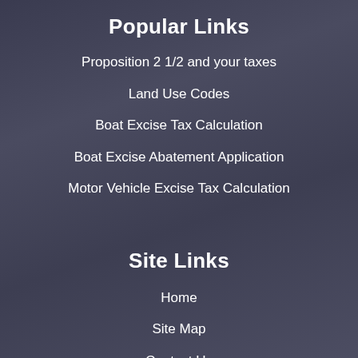Popular Links
Proposition 2 1/2 and your taxes
Land Use Codes
Boat Excise Tax Calculation
Boat Excise Abatement Application
Motor Vehicle Excise Tax Calculation
Site Links
Home
Site Map
Contact Us